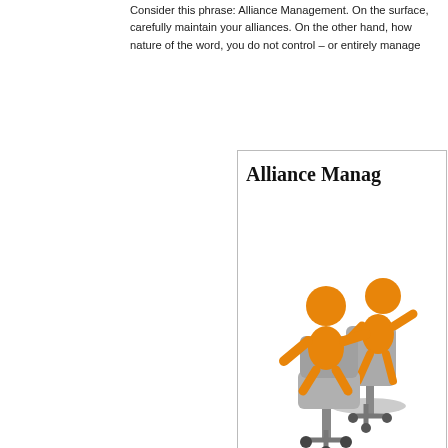Consider this phrase: Alliance Management. On the surface, carefully maintain your alliances. On the other hand, how c nature of the word, you do not control – or entirely manage
[Figure (illustration): A framed box showing the title 'Alliance Manag...' in bold serif font, with two orange cartoon stick figures seated in office chairs (one appearing to assist or interact with the other), and the subtitle 'Requires Collabo...' in bold sans-serif at the bottom.]
for another company
different management, different goals and different produc...
How can you make this work, then? Continue reading →